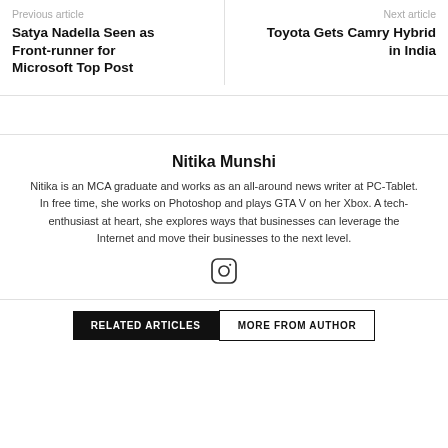Previous article
Satya Nadella Seen as Front-runner for Microsoft Top Post
Next article
Toyota Gets Camry Hybrid in India
Nitika Munshi
Nitika is an MCA graduate and works as an all-around news writer at PC-Tablet. In free time, she works on Photoshop and plays GTA V on her Xbox. A tech-enthusiast at heart, she explores ways that businesses can leverage the Internet and move their businesses to the next level.
RELATED ARTICLES   MORE FROM AUTHOR